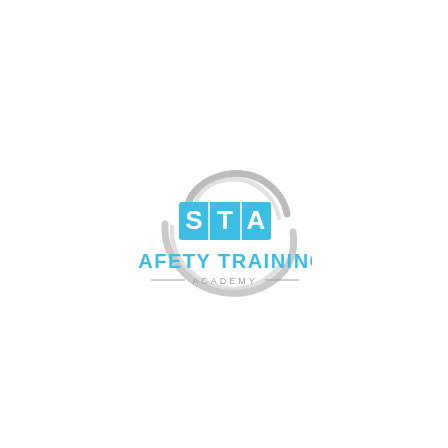[Figure (logo): Safety Training Academy logo. A grey circular swoosh/ring shape surrounds a cyan/blue rectangle containing the white letters STA. Below is the text SAFETY TRAINING in bold cyan, with ACADEMY in grey smaller letters flanked by thin horizontal lines.]